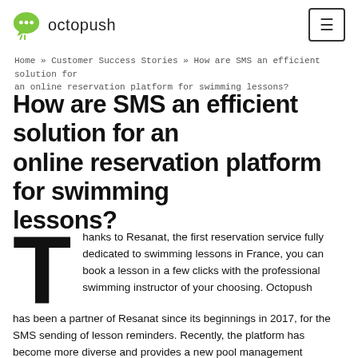octopush
Home » Customer Success Stories » How are SMS an efficient solution for an online reservation platform for swimming lessons?
How are SMS an efficient solution for an online reservation platform for swimming lessons?
Thanks to Resanat, the first reservation service fully dedicated to swimming lessons in France, you can book a lesson in a few clicks with the professional swimming instructor of your choosing. Octopush has been a partner of Resanat since its beginnings in 2017, for the SMS sending of lesson reminders. Recently, the platform has become more diverse and provides a new pool management solution. How did Octopush enable the development of this